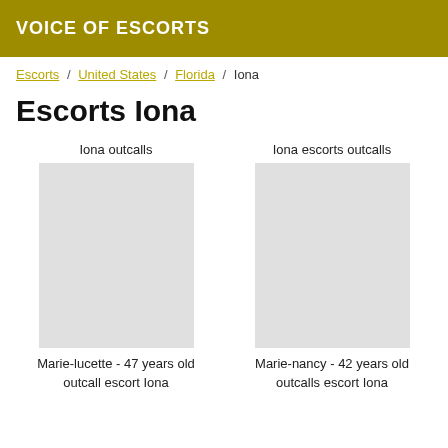VOICE OF ESCORTS
Escorts / United States / Florida / Iona
Escorts Iona
Iona outcalls
Iona escorts outcalls
Marie-lucette - 47 years old
outcall escort Iona
Marie-nancy - 42 years old
outcalls escort Iona